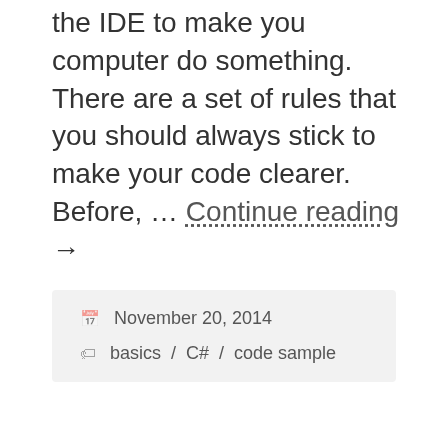the IDE to make you computer do something.  There are a set of rules that you should always stick to make your code clearer. Before, … Continue reading →
November 20, 2014
basics / C# / code sample
[Figure (illustration): Illustration showing two cloud-like shapes connected by dashed arrows. The left cloud is cyan/blue sitting on a blue cylinder base labeled 'Data', with a dashed arrow coming from the right and another dashed arrow pointing left off the page. The right cloud is pink, partially visible at the bottom right.]